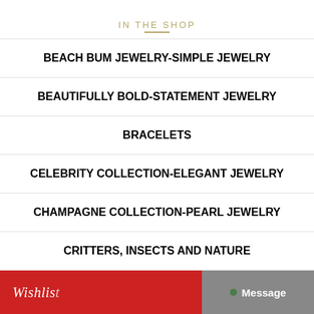IN THE SHOP
BEACH BUM JEWELRY-SIMPLE JEWELRY
BEAUTIFULLY BOLD-STATEMENT JEWELRY
BRACELETS
CELEBRITY COLLECTION-ELEGANT JEWELRY
CHAMPAGNE COLLECTION-PEARL JEWELRY
CRITTERS, INSECTS AND NATURE
EARRINGS
[Figure (screenshot): Wishlist and Message overlay buttons at bottom of page]